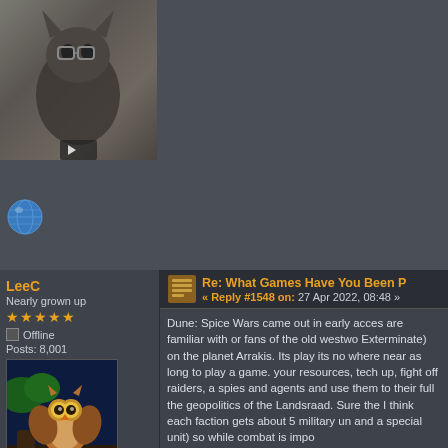[Figure (photo): User avatar showing a stylized cat/rabbit character with dark fur against a muted background, with a play button overlay visible]
[Figure (illustration): Globe/world icon emoji]
LeeC
Nearly grown up
★★★★★
Offline
Posts: 8,001
[Figure (illustration): Cartoon owl character sitting on a branch, brown/orange coloring with large eyes]
Be excellent to each other, party on Dudes!
Re: What Games Have You Been P
« Reply #1548 on: 27 Apr 2022, 08:48 »
Dune: Spice Wars came out in early acces are familiar with or fans of the old westwo Exterminate) on the planet Arrakis. Its play its no where near as long to play a game. your resources, tech up, fight off raiders, a spies and agents and use them to their full the geopolitics of the Landsraad. Sure the I think each faction gets about 5 military un and a special unit) so while combat is impo
The game takes elements from many diffe some reason it reminds me more of the bo currently: The Atreides, The Harkonnan, th Corinno) and the Bene Gesserit, but I may guild seems to have taken the Spacing Gu